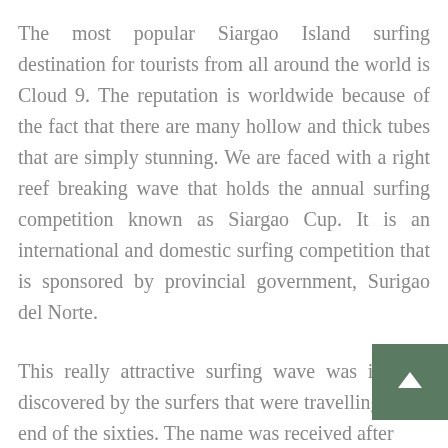The most popular Siargao Island surfing destination for tourists from all around the world is Cloud 9. The reputation is worldwide because of the fact that there are many hollow and thick tubes that are simply stunning. We are faced with a right reef breaking wave that holds the annual surfing competition known as Siargao Cup. It is an international and domestic surfing competition that is sponsored by provincial government, Surigao del Norte.
This really attractive surfing wave was initially discovered by the surfers that were travelling at the end of the sixties. The name was received after...